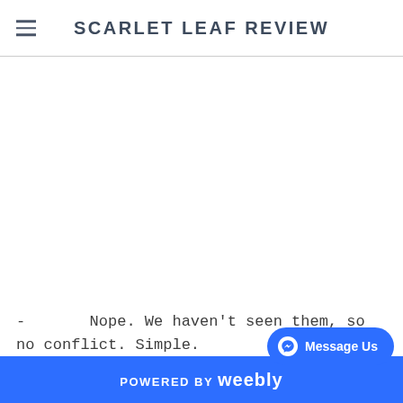SCARLET LEAF REVIEW
- Nope. We haven't seen them, so no conflict. Simple.
POWERED BY weebly